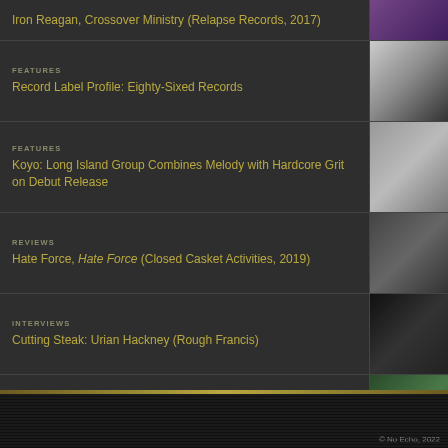Iron Reagan, Crossover Ministry (Relapse Records, 2017)
FEATURES
Record Label Profile: Eighty-Sixed Records
FEATURES
Koyo: Long Island Group Combines Melody with Hardcore Grit on Debut Release
REVIEWS
Hate Force, Hate Force (Closed Casket Activities, 2019)
INTERVIEWS
Cutting Steak: Urian Hackney (Rough Francis)
FEATURES
Liar's Tongue Debut New Vocalist on "The Infernal Region" (PREMIERE)
© No Echo, 2022